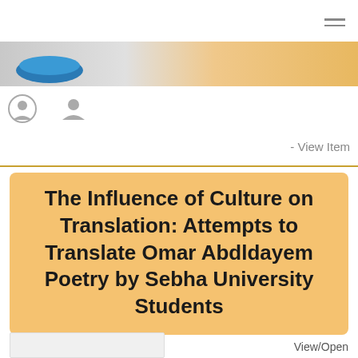[Figure (screenshot): Website header with hamburger menu icon in top right corner]
[Figure (screenshot): Repository banner with blue logo on left and tan/gold gradient on right]
[Figure (screenshot): Two user/profile icon buttons]
- View Item
The Influence of Culture on Translation: Attempts to Translate Omar Abdldayem Poetry by Sebha University Students
View/Open